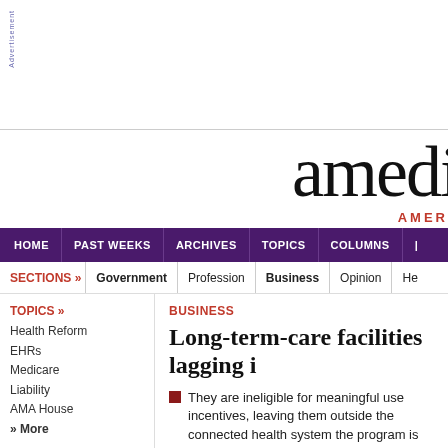Advertisement
amedn
AMER
HOME | PAST WEEKS | ARCHIVES | TOPICS | COLUMNS |
SECTIONS » Government | Profession | Business | Opinion | He
TOPICS »
Health Reform
EHRs
Medicare
Liability
AMA House
» More
BUSINESS
Long-term-care facilities lagging i
They are ineligible for meaningful use incentives, leaving them outside the connected health system the program is cre
By — Posted April 9, 2013
PRINT | EMAIL | RESPOND | REPRINTS | LIKE